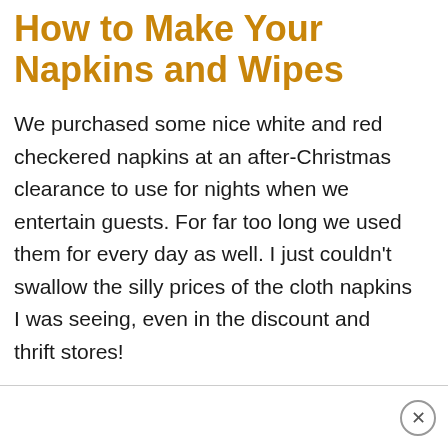How to Make Your Napkins and Wipes
We purchased some nice white and red checkered napkins at an after-Christmas clearance to use for nights when we entertain guests. For far too long we used them for every day as well. I just couldn't swallow the silly prices of the cloth napkins I was seeing, even in the discount and thrift stores!